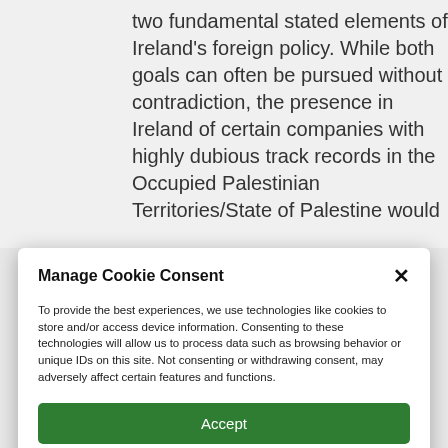two fundamental stated elements of Ireland's foreign policy. While both goals can often be pursued without contradiction, the presence in Ireland of certain companies with highly dubious track records in the Occupied Palestinian Territories/State of Palestine would
Manage Cookie Consent
To provide the best experiences, we use technologies like cookies to store and/or access device information. Consenting to these technologies will allow us to process data such as browsing behavior or unique IDs on this site. Not consenting or withdrawing consent, may adversely affect certain features and functions.
Accept
Deny
View preferences
Cookie Policy